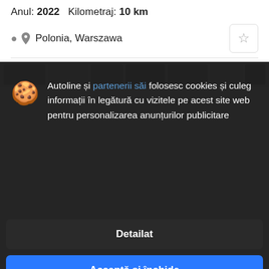Anul: 2022   Kilometraj: 10 km
Polonia, Warszawa
[Figure (screenshot): Webpage screenshot showing a vehicle listing on Autoline with a cookie consent modal overlay. The modal has a cookie emoji icon and text: 'Autoline și partenerii săi folosesc cookies și culeg informații în legătură cu vizitele pe acest site web pentru personalizarea anunțurilor publicitare'. Two buttons: 'Detailat' and 'Acceptă și închide'. Behind the overlay, blurred vehicle listing photos and text are partially visible including listing title 'Iveco Daily 35S18 Hi' and 'Bara de suspensie: resort/resort. Toliu: froiu'.]